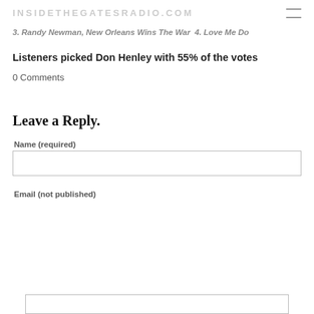INSIDETHEGATESRADIO.COM
3. Randy Newman, New Orleans Wins The War  4. Love Me Do
Listeners picked Don Henley with 55% of the votes
0 Comments
Leave a Reply.
Name (required)
Email (not published)